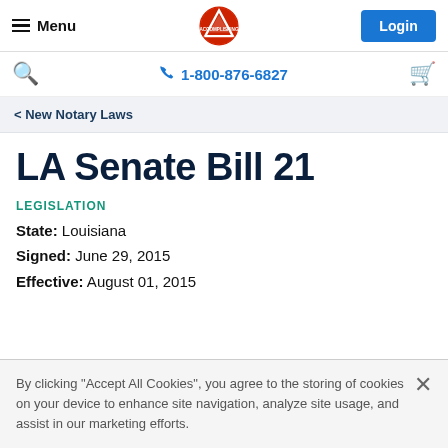Menu | Logo | Login
Search | 1-800-876-6827 | Cart
< New Notary Laws
LA Senate Bill 21
LEGISLATION
State: Louisiana
Signed: June 29, 2015
Effective: August 01, 2015
By clicking "Accept All Cookies", you agree to the storing of cookies on your device to enhance site navigation, analyze site usage, and assist in our marketing efforts.